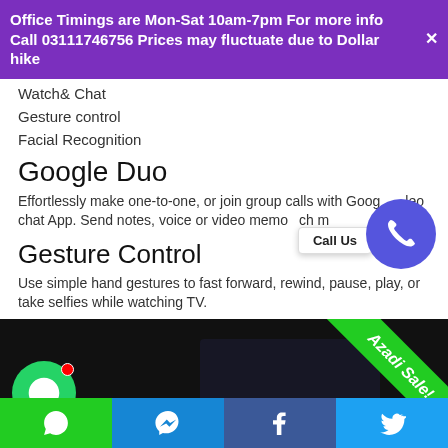Office Timings are Mon-Sat 10am-7pm For more info Call 03111746756 Prices may fluctuate due to Dollar hike
Watch& Chat
Gesture control
Facial Recognition
Google Duo
Effortlessly make one-to-one, or join group calls with Google video chat App. Send notes, voice or video memo ch m
Gesture Control
Use simple hand gestures to fast forward, rewind, pause, play, or take selfies while watching TV.
[Figure (photo): Dark background image showing a person on a video call, with WhatsApp icon overlay, green diagonal Azadi Sale! banner]
Social media icons bar: WhatsApp, Messenger, Facebook, Twitter